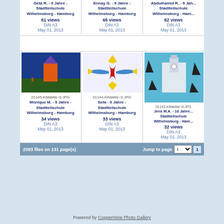Geta R. - 9 Jahre - Stadtteilschule Wilhelmsburg - Hamburg
61 views
DIN A3
May 01, 2013
Ennay G. - 9 Jahre - Stadtteilschule Wilhelmsburg - Hamburg
66 views
DIN A3
May 01, 2013
Abdulhamid R. - 9 Jahre - Stadtteilschule Wilhelmsburg - Hamburg
62 views
DIN A3
May 01, 2013
[Figure (illustration): Children's artwork - building with orange tower and blue sky, 01145-KiMaWe~0.JPG]
01145-KiMaWe~0.JPG
Monique M. - 9 Jahre - Stadtteilschule Wilhelmsburg - Hamburg
34 views
DIN A3
May 01, 2013
[Figure (illustration): Children's artwork - colorful dragon/bird figure with yellow and red shapes, 01144-KiMaWe~0.JPG]
01144-KiMaWe~0.JPG
Sefa - 9 Jahre - Stadtteilschule Wilhelmsburg - Hamburg
33 views
DIN A3
May 01, 2013
[Figure (illustration): Children's artwork - ship/castle on turquoise water with dark triangles, 01143-KiMaWe~0.JPG]
01143-KiMaWe~0.JPG
Jens M.A. - 10 Jahre - Stadtteilschule Wilhelmsburg - Hamburg
32 views
DIN A3
May 01, 2013
2083 files on 131 page(s)   Jump to page  1     1
Powered by Coppermine Photo Gallery